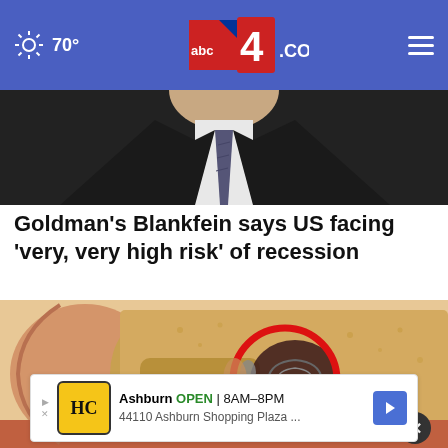abc4.com — 70° weather, navigation header
[Figure (photo): Person in dark suit with white shirt and tie, cropped to torso/neck area]
Goldman's Blankfein says US facing 'very, very high risk' of recession
[Figure (illustration): Medical illustration of inner ear anatomy with red circle highlighting cochlea/inner ear structures]
Ashburn OPEN | 8AM–8PM 44110 Ashburn Shopping Plaza ...